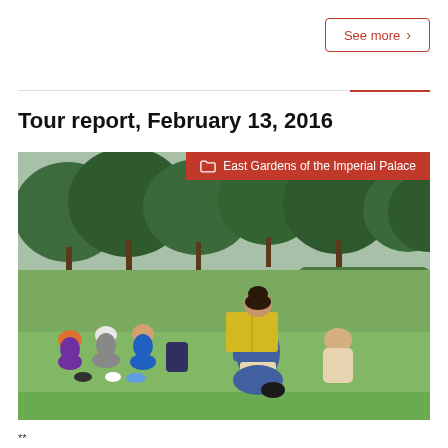See more >
Tour report, February 13, 2016
[Figure (photo): A woman in a blue kimono-style outfit kneeling on a lawn, holding a yellow book/folder, reading to a group of tourists sitting on the grass in front of her. Trees visible in the background. A red banner reads 'East Gardens of the Imperial Palace'.]
**